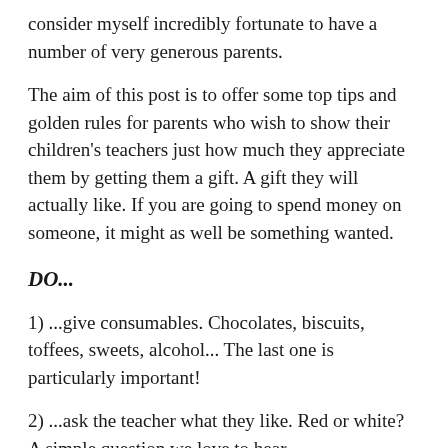...something taken for granted and I consider myself incredibly fortunate to have a number of very generous parents.
The aim of this post is to offer some top tips and golden rules for parents who wish to show their children's teachers just how much they appreciate them by getting them a gift. A gift they will actually like. If you are going to spend money on someone, it might as well be something wanted.
DO...
1) ...give consumables. Chocolates, biscuits, toffees, sweets, alcohol... The last one is particularly important!
2) ...ask the teacher what they like. Red or white? A simple question we love to hear.
3) ...club together. If you want to go the extra mile. Have a...